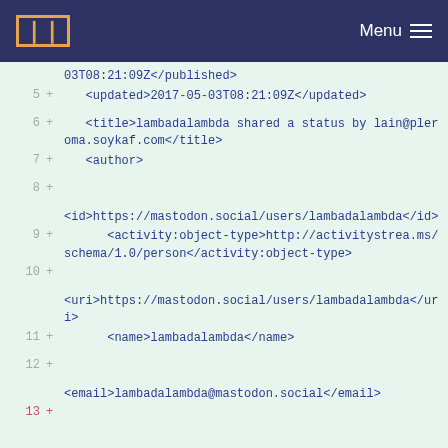Menu
5  +   <updated>2017-05-03T08:21:09Z</updated>
6  +   <title>lambadalambda shared a status by lain@pleroma.soykaf.com</title>
7  +   <author>
8  +
   <id>https://mastodon.social/users/lambadalambda</id>
9  +      <activity:object-type>http://activitystrea.ms/schema/1.0/person</activity:object-type>
10 +
   <uri>https://mastodon.social/users/lambadalambda</uri>
11 +      <name>lambadalambda</name>
12 +
   <email>lambadalambda@mastodon.social</email>